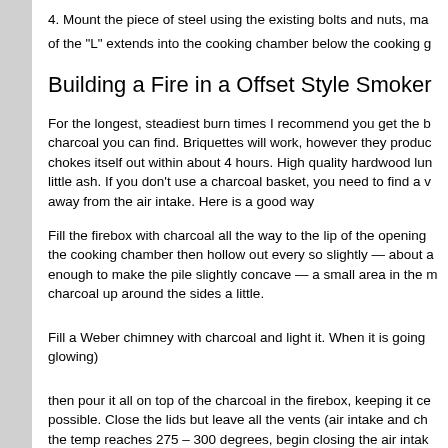4. Mount the piece of steel using the existing bolts and nuts, making sure the bottom of the "L" extends into the cooking chamber below the cooking g…
Building a Fire in a Offset Style Smoker
For the longest, steadiest burn times I recommend you get the best charcoal you can find. Briquettes will work, however they produce more ash and chokes itself out within about 4 hours. High quality hardwood lump makes very little ash. If you don't use a charcoal basket, you need to find a way to keep it away from the air intake. Here is a good way
Fill the firebox with charcoal all the way to the lip of the opening closest to the cooking chamber then hollow out every so slightly — about a 1/2" — just enough to make the pile slightly concave — a small area in the middle — with the charcoal up around the sides a little.
Fill a Weber chimney with charcoal and light it. When it is going good (all glowing)
then pour it all on top of the charcoal in the firebox, keeping it centered as possible. Close the lids but leave all the vents (air intake and chimney) open until the temp reaches 275 – 300 degrees, begin closing the air intake about half way then check the temp in 15 minutes. If it is too high, close the…